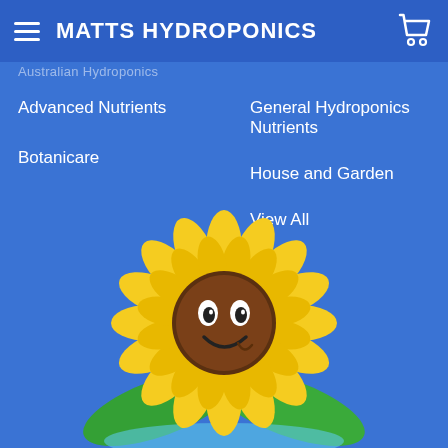MATTS HYDROPONICS
Australian Hydroponics
Advanced Nutrients
Botanicare
General Hydroponics Nutrients
House and Garden
View All
[Figure (illustration): Cartoon smiling sunflower mascot with yellow petals, brown center with eyes and smile, green leaves at the base, partially cropped at bottom of page]